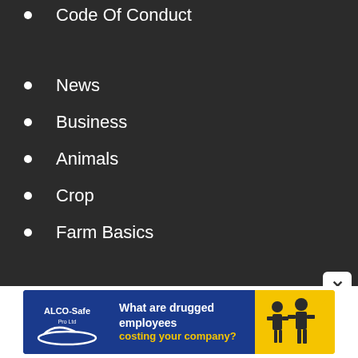Code Of Conduct
News
Business
Animals
Crop
Farm Basics
Lifestyle
Auctions
Watch
[Figure (infographic): ALCO-Safe advertisement banner: 'What are drugged employees costing your company?' with logo on blue and yellow background with people silhouettes]